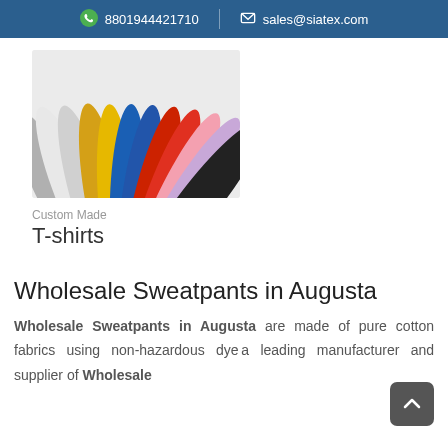8801944421710  sales@siatex.com
[Figure (photo): Fan arrangement of colorful t-shirts in various colors including gray, white, yellow, blue, red, pink, black, and lavender]
Custom Made
T-shirts
Wholesale Sweatpants in Augusta
Wholesale Sweatpants in Augusta are made of pure cotton fabrics using non-hazardous dyes a leading manufacturer and supplier of Wholesale